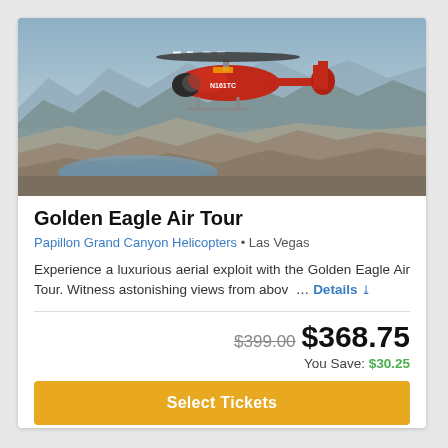[Figure (photo): Aerial photo of a red helicopter flying over a canyon landscape with mountains and a lake/river below, clear sky above.]
Golden Eagle Air Tour
Papillon Grand Canyon Helicopters • Las Vegas
Experience a luxurious aerial exploit with the Golden Eagle Air Tour. Witness astonishing views from abov… Details
$399.00  $368.75
You Save: $30.25
Select Tickets